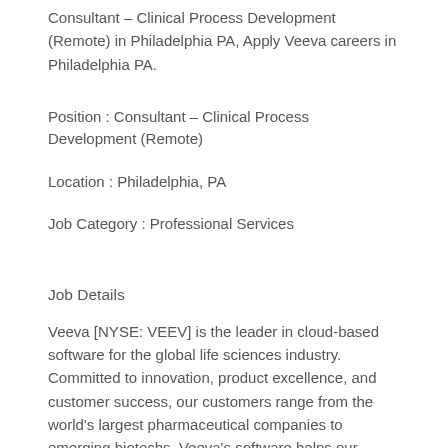Consultant – Clinical Process Development (Remote) in Philadelphia PA, Apply Veeva careers in Philadelphia PA.
Position : Consultant – Clinical Process Development (Remote)
Location : Philadelphia, PA
Job Category : Professional Services
Job Details
Veeva [NYSE: VEEV] is the leader in cloud-based software for the global life sciences industry. Committed to innovation, product excellence, and customer success, our customers range from the world's largest pharmaceutical companies to emerging biotechs. Veeva's software helps our customers bring medicines